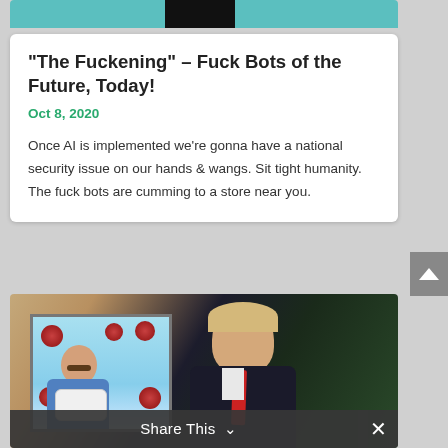[Figure (photo): Top banner image showing a teal/cyan background with a dark center strip]
“The Fuckening” – Fuck Bots of the Future, Today!
Oct 8, 2020
Once AI is implemented we’re gonna have a national security issue on our hands & wangs. Sit tight humanity. The fuck bots are cumming to a store near you.
[Figure (photo): Bottom section showing a composite photo: a man in a blue shirt holding a pillow surrounded by coronavirus particles in an inset image, overlaid on a larger photo of Donald Trump in a dark suit with a red tie]
Share This